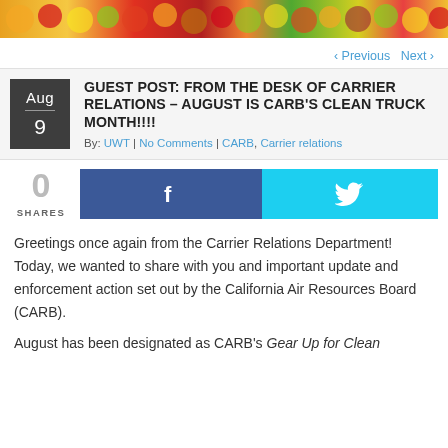[Figure (photo): Colorful fruits and vegetables banner image at the top of the page]
« Previous   Next »
GUEST POST: FROM THE DESK OF CARRIER RELATIONS – AUGUST IS CARB'S CLEAN TRUCK MONTH!!!!
By: UWT | No Comments | CARB, Carrier relations
0 SHARES
Greetings once again from the Carrier Relations Department! Today, we wanted to share with you and important update and enforcement action set out by the California Air Resources Board (CARB).
August has been designated as CARB's Gear Up for Clean